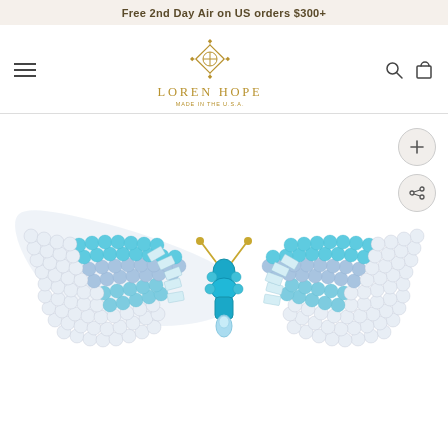Free 2nd Day Air on US orders $300+
[Figure (logo): Loren Hope brand logo with decorative diamond-shaped icon above the text LOREN HOPE MADE IN THE U.S.A.]
[Figure (photo): A large ornate butterfly brooch covered in round and baguette crystals in clear/white, light blue, aqua/teal, and blue-purple tones, with gold-tone metal setting and antennae. The body features teal and blue rectangular crystals. A pear-shaped pale blue crystal forms the lower body.]